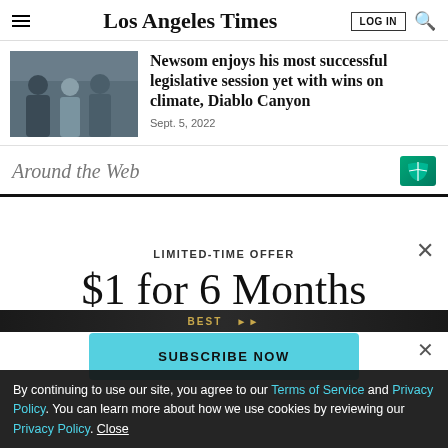Los Angeles Times
Newsom enjoys his most successful legislative session yet with wins on climate, Diablo Canyon
Sept. 5, 2022
Around the Web
LIMITED-TIME OFFER
$1 for 6 Months
SUBSCRIBE NOW
By continuing to use our site, you agree to our Terms of Service and Privacy Policy. You can learn more about how we use cookies by reviewing our Privacy Policy. Close